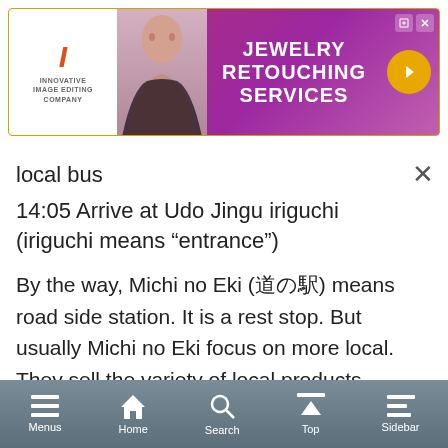[Figure (screenshot): Advertisement banner for Jewelry Retouching Services with purple/magenta background, a woman's photo, logo on white background, title text, and an orange circular arrow button]
local bus
14:05 Arrive at Udo Jingu iriguchi (iriguchi means “entrance”)
By the way, Michi no Eki (道の駅) means road side station. It is a rest stop. But usually Michi no Eki focus on more local. They sell the variety of local products and serve a local food. If you have a time, take some rest there and enjoy local taste.
Menus  Home  Search  Top  Sidebar